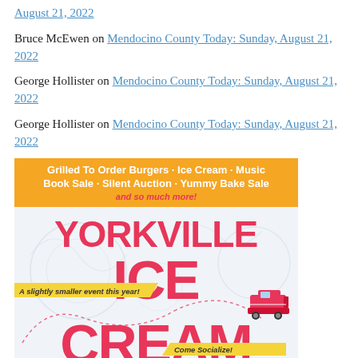August 21, 2022
Bruce McEwen on Mendocino County Today: Sunday, August 21, 2022
George Hollister on Mendocino County Today: Sunday, August 21, 2022
George Hollister on Mendocino County Today: Sunday, August 21, 2022
[Figure (illustration): Yorkville Ice Cream social event flyer with orange banner listing activities (Grilled To Order Burgers, Ice Cream, Music, Book Sale, Silent Auction, Yummy Bake Sale, and so much more!), large pink YORKVILLE ICE CREAM text on light background with decorative elements, yellow ribbon reading 'A slightly smaller event this year!' and 'Come Socialize!', and a small fire truck graphic.]